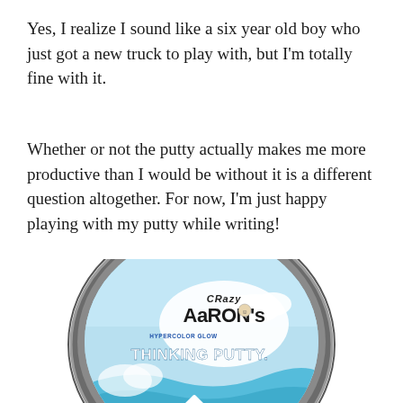Yes, I realize I sound like a six year old boy who just got a new truck to play with, but I'm totally fine with it.
Whether or not the putty actually makes me more productive than I would be without it is a different question altogether. For now, I'm just happy playing with my putty while writing!
[Figure (photo): A tin of Crazy Aaron's Thinking Putty (Hypercolor Glow variety), showing the product label with blue and teal swirl design and the brand logo.]